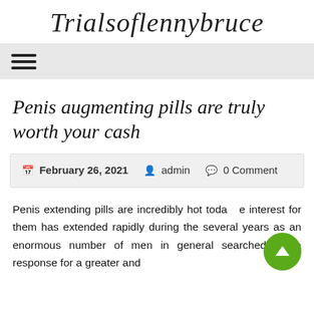Trialsoflennybruce
[Figure (other): Hamburger menu icon (three horizontal lines)]
Penis augmenting pills are truly worth your cash
February 26, 2021   admin   0 Comment
Penis extending pills are incredibly hot toda  e interest for them has extended rapidly during the several years as an enormous number of men in general searched for a response for a greater and